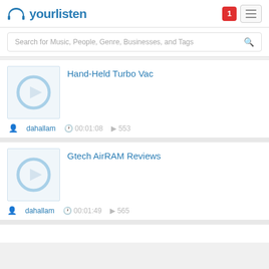yourlisten
Search for Music, People, Genre, Businesses, and Tags
Hand-Held Turbo Vac
dahallam  00:01:08  553
Gtech AirRAM Reviews
dahallam  00:01:49  565